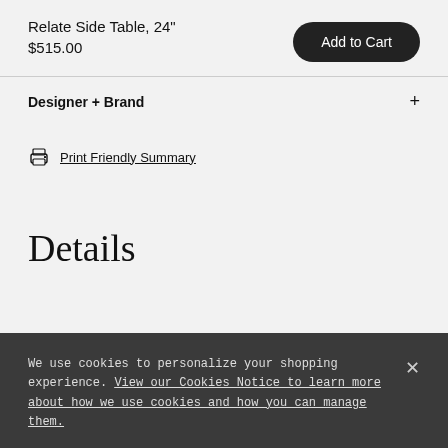Relate Side Table, 24"
$515.00
Add to Cart
Designer + Brand
Print Friendly Summary
Details
We use cookies to personalize your shopping experience. View our Cookies Notice to learn more about how we use cookies and how you can manage them.